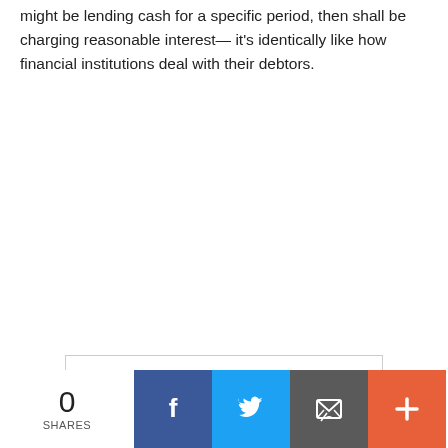might be lending cash for a specific period, then shall be charging reasonable interest— it's identically like how financial institutions deal with their debtors.
[Figure (screenshot): Partial widget box showing a dark blue rectangle, a checkmark, 'In-store shopping' text, and an up-arrow button on the right.]
0 SHARES | Facebook share button | Twitter share button | Email share button | Plus share button